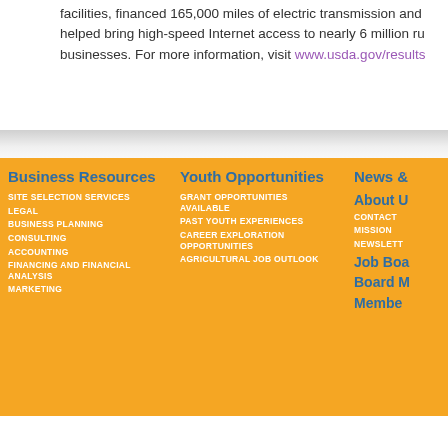facilities, financed 165,000 miles of electric transmission and... helped bring high-speed Internet access to nearly 6 million ru... businesses. For more information, visit www.usda.gov/results
Business Resources
SITE SELECTION SERVICES
LEGAL
BUSINESS PLANNING
CONSULTING
ACCOUNTING
FINANCING AND FINANCIAL ANALYSIS
MARKETING
Youth Opportunities
GRANT OPPORTUNITIES AVAILABLE
PAST YOUTH EXPERIENCES
CAREER EXPLORATION OPPORTUNITIES
AGRICULTURAL JOB OUTLOOK
News &
About U
CONTACT
MISSION
NEWSLETT
Job Boa
Board M
Membe
© 2022 AgConnect. All rights reserved. | site by millerdesignworks
This website is funded in part by the Pennsylvania Department of Community and Economic Devel...